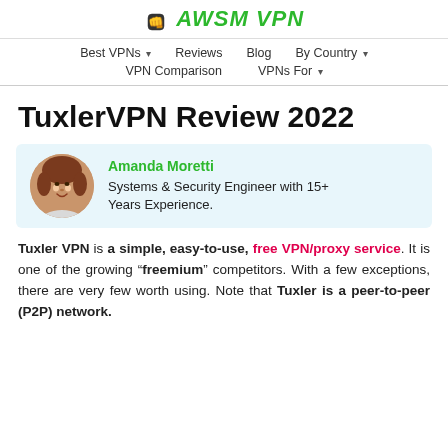AWSM VPN
Best VPNs   Reviews   Blog   By Country   VPN Comparison   VPNs For
TuxlerVPN Review 2022
Amanda Moretti
Systems & Security Engineer with 15+ Years Experience.
Tuxler VPN is a simple, easy-to-use, free VPN/proxy service. It is one of the growing “freemium” competitors. With a few exceptions, there are very few worth using. Note that Tuxler is a peer-to-peer (P2P) network.